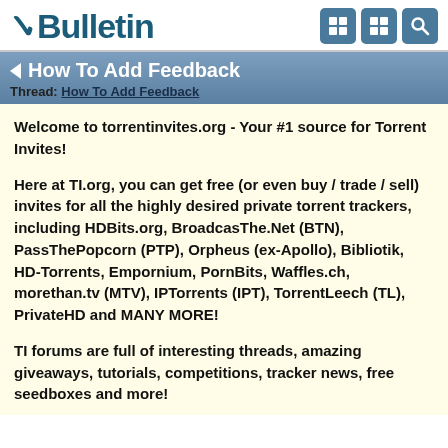[Figure (logo): vBulletin logo in dark teal/navy with reversed checkmark symbol, followed by navigation icons (grid and search icons) on the right]
How To Add Feedback
Thread: How To Add Feedback
Welcome to torrentinvites.org - Your #1 source for Torrent Invites!
Here at TI.org, you can get free (or even buy / trade / sell) invites for all the highly desired private torrent trackers, including HDBits.org, BroadcasThe.Net (BTN), PassThePopcorn (PTP), Orpheus (ex-Apollo), Bibliotik, HD-Torrents, Empornium, PornBits, Waffles.ch, morethan.tv (MTV), IPTorrents (IPT), TorrentLeech (TL), PrivateHD and MANY MORE!
TI forums are full of interesting threads, amazing giveaways, tutorials, competitions, tracker news, free seedboxes and more!